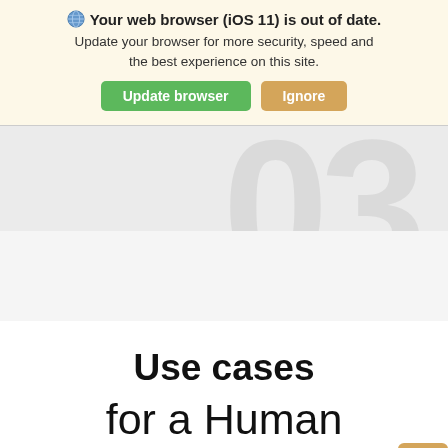Your web browser (iOS 11) is out of date. Update your browser for more security, speed and the best experience on this site. [Update browser] [Ignore]
[Figure (screenshot): Partial screenshot of a web page showing a large decorative '03' watermark in light gray on a light gray background]
Use cases
for a Human Resources